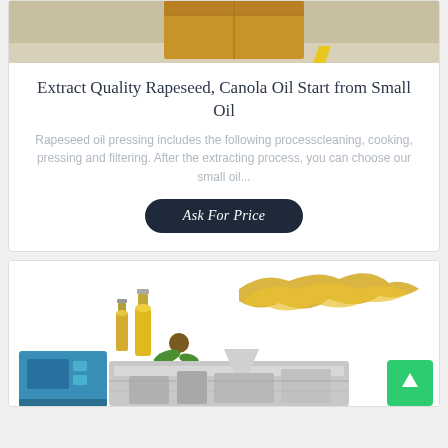[Figure (photo): Cardboard box on floor with yellow stripe, top portion visible]
Extract Quality Rapeseed, Canola Oil Start from Small Oil
Rapeseed oil pressing includes the following processcleaning, cooking, pressing and filtering. After the extracting process, you can choose our small oil...
Ask For Price
[Figure (photo): Oil bottles with sunflower and oil splash graphic above oil pressing machine]